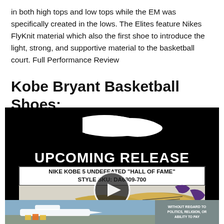in both high tops and low tops while the EM was specifically created in the lows. The Elites feature Nikes FlyKnit material which also the first shoe to introduce the light, strong, and supportive material to the basketball court. Full Performance Review
Kobe Bryant Basketball Shoes:
[Figure (screenshot): Video thumbnail showing Nike Kobe 5 Undefeated Hall of Fame shoe. Black background with Nike swoosh at top, 'UPCOMING RELEASE' text in white, white box with 'NIKE KOBE 5 UNDEFEATED "HALL OF FAME" STYLE SKU: DA6809-700', play button overlay in center, gold/purple basketball shoes visible at bottom.]
[Figure (photo): Partial advertisement image showing an airplane being loaded with cargo, with text overlay 'WITHOUT REGARD TO POLITICS, RELIGION, OR ABILITY TO PAY'.]